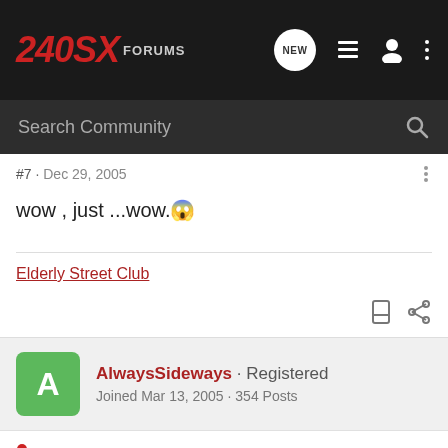240SX FORUMS
Search Community
#7 · Dec 29, 2005
wow , just ...wow. 😱
Elderly Street Club
AlwaysSideways · Registered
Joined Mar 13, 2005 · 354 Posts